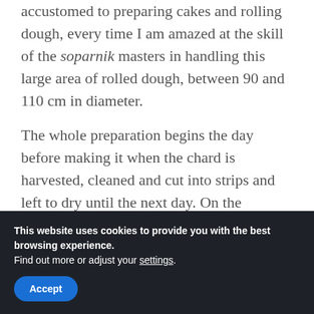accustomed to preparing cakes and rolling dough, every time I am amazed at the skill of the soparnik masters in handling this large area of rolled dough, between 90 and 110 cm in diameter.

The whole preparation begins the day before making it when the chard is harvested, cleaned and cut into strips and left to dry until the next day. On the
This website uses cookies to provide you with the best browsing experience.
Find out more or adjust your settings.